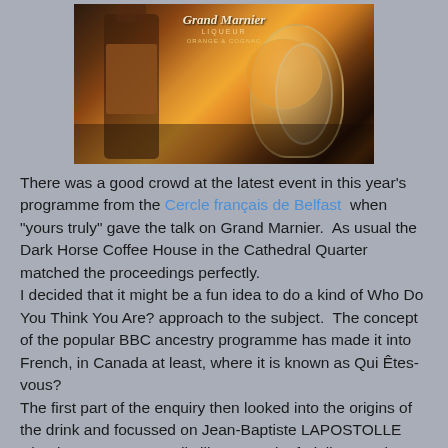[Figure (photo): Photo of Grand Marnier liqueur bottle with a glass containing an orange slice, on a dark surface]
There was a good crowd at the latest event in this year's programme from the Cercle français de Belfast  when "yours truly" gave the talk on Grand Marnier.  As usual the Dark Horse Coffee House in the Cathedral Quarter matched the proceedings perfectly.
I decided that it might be a fun idea to do a kind of Who Do You Think You Are? approach to the subject.  The concept of the popular BBC ancestry programme has made it into French, in Canada at least, where it is known as Qui Êtes-vous?
The first part of the enquiry then looked into the origins of the drink and focussed on Jean-Baptiste LAPOSTOLLE who, in 1827, set up a distillery to make fruit liqueurs in Neauphle-le-Chateau near Paris.  The story moved to his son Eugene who returned from travels with bottles of "burnt wine" - brandewijn - from the Cognac region.  He is said to have offered a taste to his friend Louis-Alexandre MARNIER who